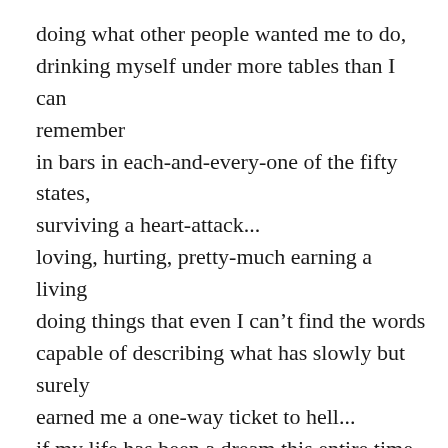doing what other people wanted me to do, drinking myself under more tables than I can remember in bars in each-and-every-one of the fifty states, surviving a heart-attack... loving, hurting, pretty-much earning a living doing things that even I can't find the words capable of describing what has slowly but surely earned me a one-way ticket to hell... if my life has been a dream this entire time it has been a nightmare from beginning to end... my fate was already signed, sealed, and delivered a long time ago – there was never any question of how,